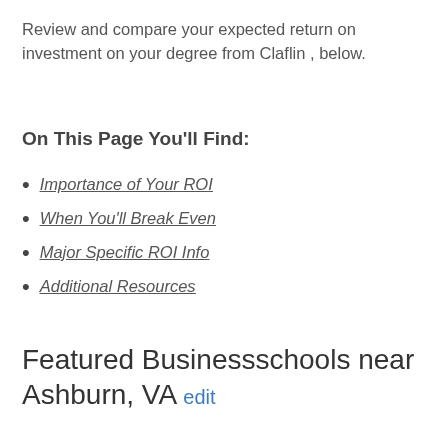Review and compare your expected return on investment on your degree from Claflin , below.
On This Page You'll Find:
Importance of Your ROI
When You'll Break Even
Major Specific ROI Info
Additional Resources
Featured Businessschools near Ashburn, VA edit